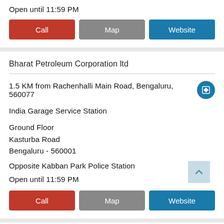Open until 11:59 PM
Call | Map | Website
Bharat Petroleum Corporation ltd
1.5 KM from Rachenhalli Main Road, Bengaluru, 560077
India Garage Service Station
Ground Floor
Kasturba Road
Bengaluru - 560001
Opposite Kabban Park Police Station
Open until 11:59 PM
Call | Map | Website
Bharat Petroleum Corporation ltd